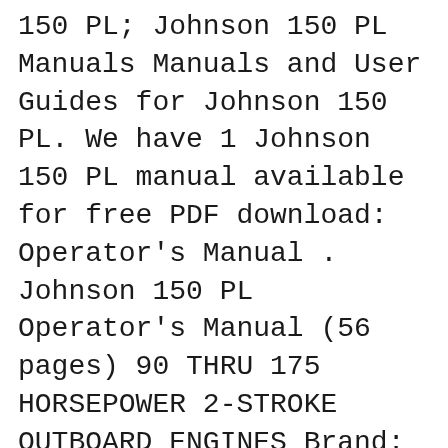150 PL; Johnson 150 PL Manuals Manuals and User Guides for Johnson 150 PL. We have 1 Johnson 150 PL manual available for free PDF download: Operator's Manual . Johnson 150 PL Operator's Manual (56 pages) 90 THRU 175 HORSEPOWER 2-STROKE OUTBOARD ENGINES Brand: Johnson Category: Outboard Motor Size: 1.99 MB Table of contents. 3. Table of Contents. 4. вЂ¦
This 2003, 15 hp Johnson is made for saltwater. This outboard engine weighs approximately 74 pounds. It has 2 cylinders. The pistons have a 15.6 displacement. The bore width is 2.37" and the stroke length is 1.76". This